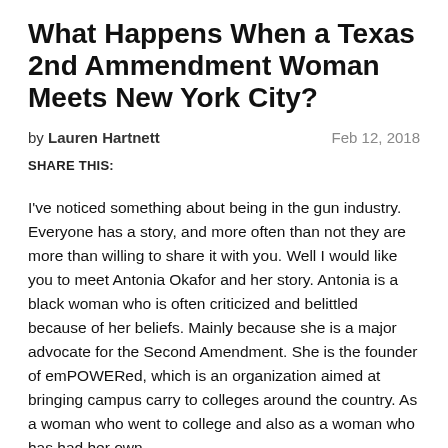What Happens When a Texas 2nd Ammendment Woman Meets New York City?
by Lauren Hartnett   Feb 12, 2018
SHARE THIS:
I've noticed something about being in the gun industry. Everyone has a story, and more often than not they are more than willing to share it with you. Well I would like you to meet Antonia Okafor and her story. Antonia is a black woman who is often criticized and belittled because of her beliefs. Mainly because she is a major advocate for the Second Amendment. She is the founder of emPOWERed, which is an organization aimed at bringing campus carry to colleges around the country. As a woman who went to college and also as a woman who has had her own